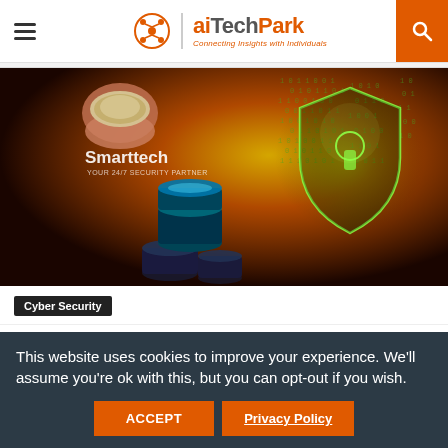aiTechPark — Connecting Insights with Individuals
[Figure (photo): Coins stacked with a glowing digital security shield and lock icon overlay, branded with 'Smarttech — Your 24/7 Security Partner']
Cyber Security
This website uses cookies to improve your experience. We'll assume you're ok with this, but you can opt-out if you wish.
ACCEPT
Privacy Policy